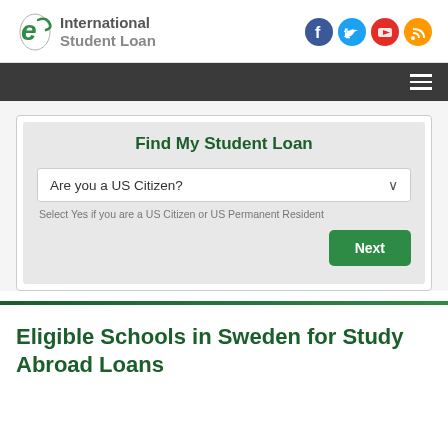International Student Loan
[Figure (screenshot): Find My Student Loan widget with dropdown 'Are you a US Citizen?' and Next button]
Eligible Schools in Sweden for Study Abroad Loans